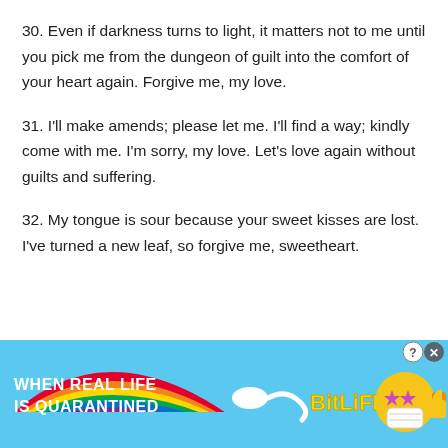30. Even if darkness turns to light, it matters not to me until you pick me from the dungeon of guilt into the comfort of your heart again. Forgive me, my love.
31. I'll make amends; please let me. I'll find a way; kindly come with me. I'm sorry, my love. Let's love again without guilts and suffering.
32. My tongue is sour because your sweet kisses are lost. I've turned a new leaf, so forgive me, sweetheart.
[Figure (screenshot): Mobile advertisement banner for BitLife game. Shows rainbow arc, text 'WHEN REAL LIFE IS QUARANTINED', a sperm emoji illustration, 'BitLife' logo in yellow bold font, and a cartoon character with star eyes wearing a mask with a thumbs up. Blue background with multicolor rainbow. Close/X button and help button in upper right corner.]